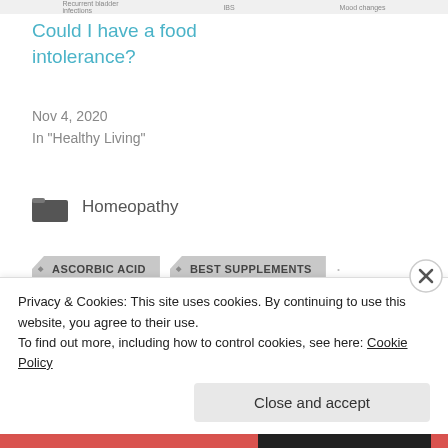Recurrent bladder infections   IBS   Mood changes
Could I have a food intolerance?
Nov 4, 2020
In "Healthy Living"
Homeopathy
ASCORBIC ACID
BEST SUPPLEMENTS
BEST VITAMINS
CLEANSE
DETOX
FOOD FORM SUPPLEMENTS
Privacy & Cookies: This site uses cookies. By continuing to use this website, you agree to their use.
To find out more, including how to control cookies, see here: Cookie Policy
Close and accept